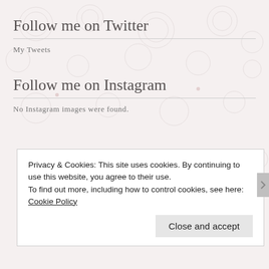Follow me on Twitter
My Tweets
Follow me on Instagram
No Instagram images were found.
Privacy & Cookies: This site uses cookies. By continuing to use this website, you agree to their use.
To find out more, including how to control cookies, see here: Cookie Policy
Close and accept